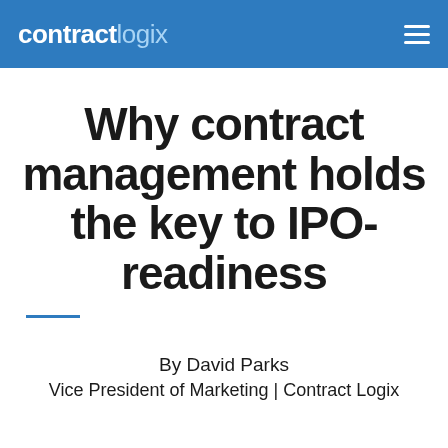contractlogix
Why contract management holds the key to IPO-readiness
By David Parks
Vice President of Marketing | Contract Logix